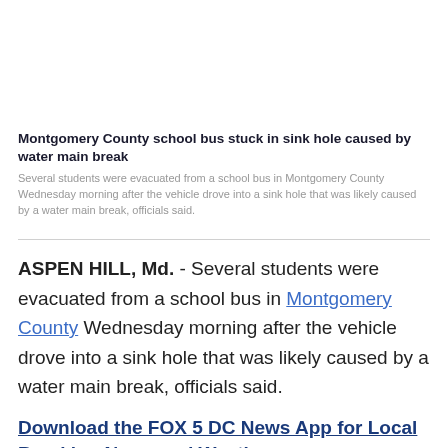Montgomery County school bus stuck in sink hole caused by water main break
Several students were evacuated from a school bus in Montgomery County Wednesday morning after the vehicle drove into a sink hole that was likely caused by a water main break, officials said.
ASPEN HILL, Md. - Several students were evacuated from a school bus in Montgomery County Wednesday morning after the vehicle drove into a sink hole that was likely caused by a water main break, officials said.
Download the FOX 5 DC News App for Local Breaking News and Weather